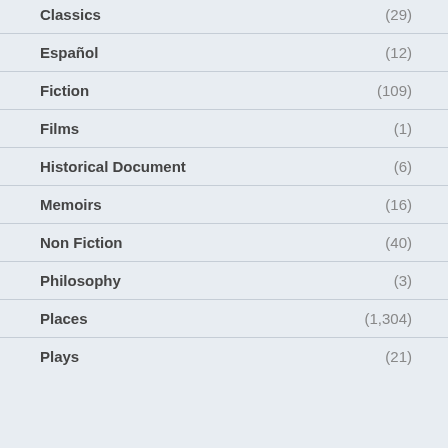Classics (29)
Español (12)
Fiction (109)
Films (1)
Historical Document (6)
Memoirs (16)
Non Fiction (40)
Philosophy (3)
Places (1,304)
Plays (21)